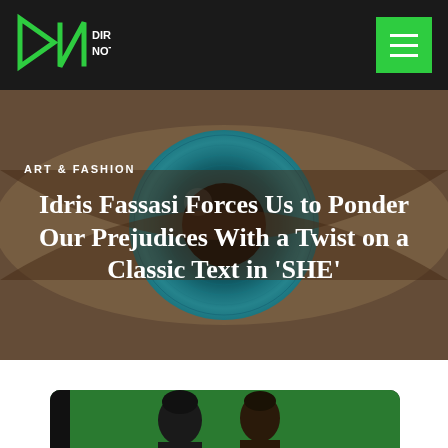Directors Notes
ART & FASHION
Idris Fassasi Forces Us to Ponder Our Prejudices With a Twist on a Classic Text in 'SHE'
[Figure (photo): Close-up photograph of a human eye with blue-teal iris and dilated pupil, serving as hero background]
[Figure (photo): Two Black men photographed against a green background, partially visible at bottom of page]